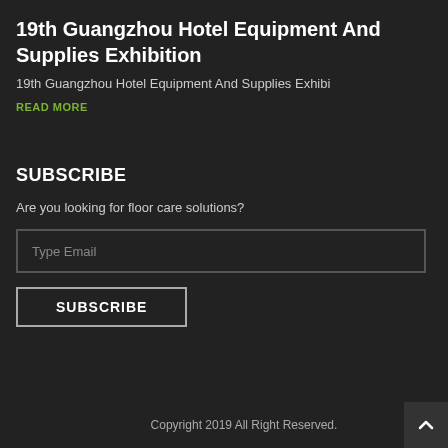19th Guangzhou Hotel Equipment And Supplies Exhibition
19th Guangzhou Hotel Equipment And Supplies Exhibi
READ MORE
SUBSCRIBE
Are you looking for floor care solutions?
Type Email
SUBSCRIBE
Copyright 2019 All Right Reserved.